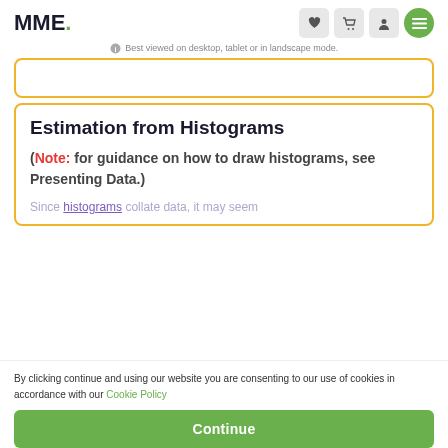MME.
Best viewed on desktop, tablet or in landscape mode.
Estimation from Histograms
(Note: for guidance on how to draw histograms, see Presenting Data.)
Since histograms collate data, it may seem
By clicking continue and using our website you are consenting to our use of cookies in accordance with our Cookie Policy
Continue